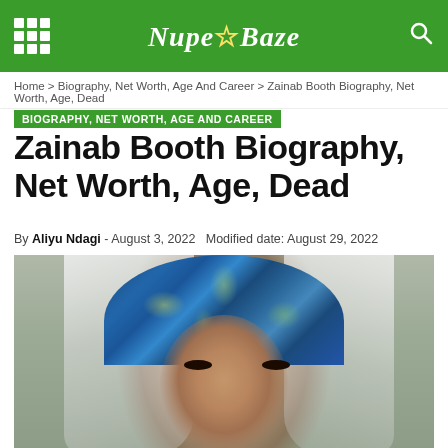Nupe★Baze
Home > Biography, Net Worth, Age And Career > Zainab Booth Biography, Net Worth, Age, Dead
BIOGRAPHY, NET WORTH, AGE AND CAREER
Zainab Booth Biography, Net Worth, Age, Dead
By Aliyu Ndagi - August 3, 2022  Modified date: August 29, 2022
[Figure (photo): Portrait photo of Zainab Booth wearing a blue patterned headwrap and white veil/hijab, looking at the camera with subtle makeup]